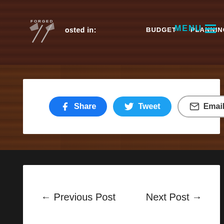Posted in: BUDGET   PLANNING   RESTAURANTS   MENU
Share  Tweet  Email
← Previous Post    Next Post →
[Figure (logo): Forged logo with axes icon in footer]